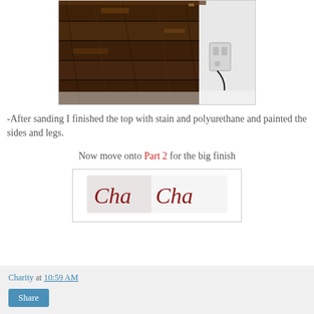[Figure (photo): A dark wood-stained surface (headboard or tabletop) photographed against a white wall with an electrical outlet visible, and a cord hanging down.]
-After sanding I finished the top with stain and polyurethane and painted the sides and legs.
Now move onto Part 2 for the big finish
[Figure (logo): Cha Cha signature logo in dark red cursive script on a white/light background, inside a rounded rectangle border.]
Charity at 10:59 AM
Share